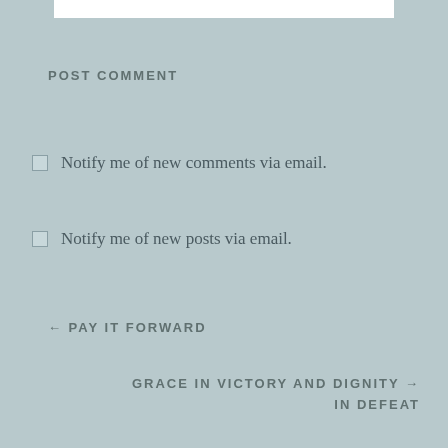POST COMMENT
Notify me of new comments via email.
Notify me of new posts via email.
← PAY IT FORWARD
GRACE IN VICTORY AND DIGNITY → IN DEFEAT